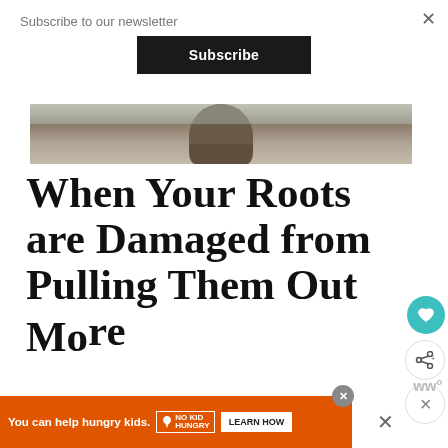Subscribe to our newsletter
Subscribe
[Figure (photo): Person wearing a puffer jacket viewed from behind, standing near water with trees in background]
When Your Roots are Damaged from Pulling Them Out More
You can help hungry kids.  NO KID HUNGRY  LEARN HOW